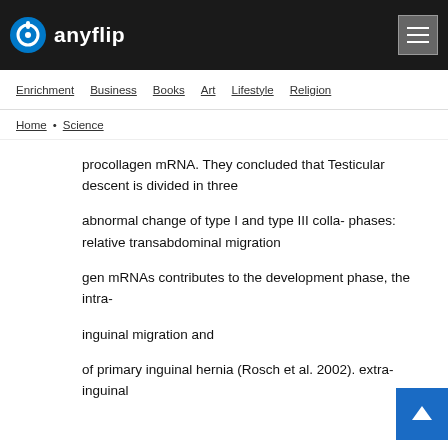anyflip
Enrichment  Business  Books  Art  Lifestyle  Religion
Home > Science
procollagen mRNA. They concluded that Testicular descent is divided in three abnormal change of type I and type III colla- phases: relative transabdominal migration gen mRNAs contributes to the development phase, the intra- inguinal migration and of primary inguinal hernia (Rosch et al. 2002). extra-inguinal migration. From studies of hernia cases, there is strong evidence that It has been shown that recurrent inguinal MIS is involved in the regulation of the first hernias are a disease of the collagen matrix. phase of migration, the second phase requires An increase of MMPs MMP-1 and MMP-13 increased intra- abdominal pressure, and mRNAs and proteins was observed in the finally, the extra-